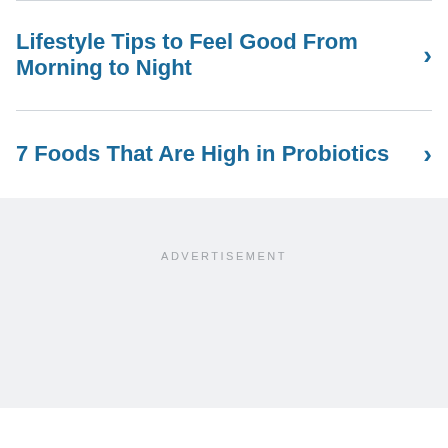Lifestyle Tips to Feel Good From Morning to Night
7 Foods That Are High in Probiotics
ADVERTISEMENT